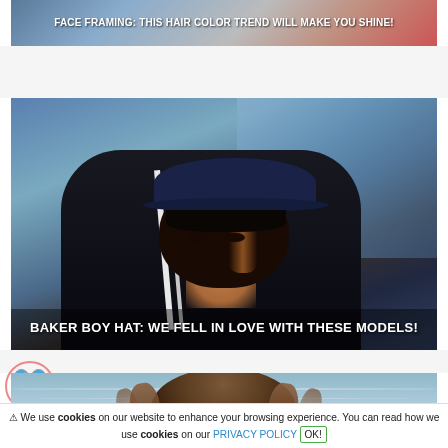[Figure (photo): Partial top banner image showing text overlay on a blurred photo background with text about face framing hair color trend]
FACE FRAMING: THIS HAIR COLOR TREND WILL MAKE YOU SHINE!
[Figure (photo): Woman wearing a dark navy baker boy hat with a blunt bob hairstyle, looking over her shoulder, street style photo]
BAKER BOY HAT: WE FELL IN LOVE WITH THESE MODELS!
[Figure (photo): Person with long wavy hair seen from behind near water/sea]
⚠ We use cookies on our website to enhance your browsing experience. You can read how we use cookies on our PRIVACY POLICY OK!